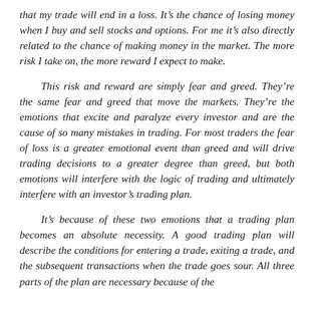that my trade will end in a loss. It's the chance of losing money when I buy and sell stocks and options. For me it's also directly related to the chance of making money in the market. The more risk I take on, the more reward I expect to make.
This risk and reward are simply fear and greed. They're the same fear and greed that move the markets. They're the emotions that excite and paralyze every investor and are the cause of so many mistakes in trading. For most traders the fear of loss is a greater emotional event than greed and will drive trading decisions to a greater degree than greed, but both emotions will interfere with the logic of trading and ultimately interfere with an investor's trading plan.
It's because of these two emotions that a trading plan becomes an absolute necessity. A good trading plan will describe the conditions for entering a trade, exiting a trade, and the subsequent transactions when the trade goes sour. All three parts of the plan are necessary because of the